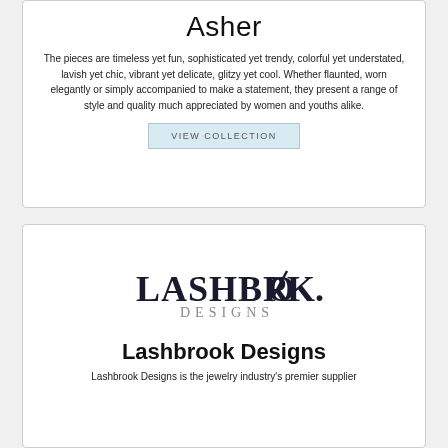Asher
The pieces are timeless yet fun, sophisticated yet trendy, colorful yet understated, lavish yet chic, vibrant yet delicate, glitzy yet cool. Whether flaunted, worn elegantly or simply accompanied to make a statement, they present a range of style and quality much appreciated by women and youths alike.
VIEW COLLECTION
[Figure (logo): Lashbrook Designs logo with stylized text 'LASHBROOK.' in large letters and 'DESIGNS' below in spaced capitals]
Lashbrook Designs
Lashbrook Designs is the jewelry industry's premier supplier